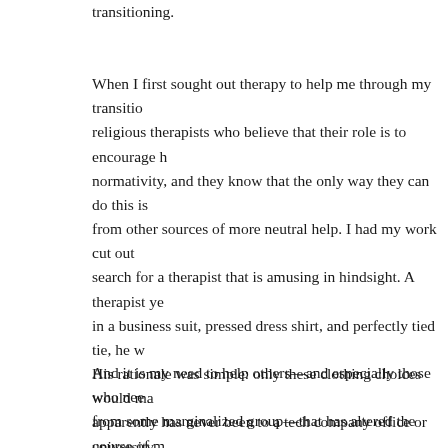transitioning.
When I first sought out therapy to help me through my transitio… religious therapists who believe that their role is to encourage h… normativity, and they know that the only way they can do this is… from other sources of more neutral help. I had my work cut out… search for a therapist that is amusing in hindsight. A therapist ye… in a business suit, pressed dress shirt, and perfectly tied tie, he w… His rationale was simple: only these clothing choices would ma… apparently has never been to a tech company office or university… and get a job, pointing out that he didn't want to have to pay inc… my entire life. Oddly enough, he and others like him have inadv… They made me more sensitive to others' needs and instilled in m…
And it is my need to help others—and especially those who nee… from some marginalized group—that has altered the course of m… When helping others becomes something you are disrespected a… know you are dealing with people that have a lot to hide and a l… have too much to lose from a fair world, and too much to hide a…